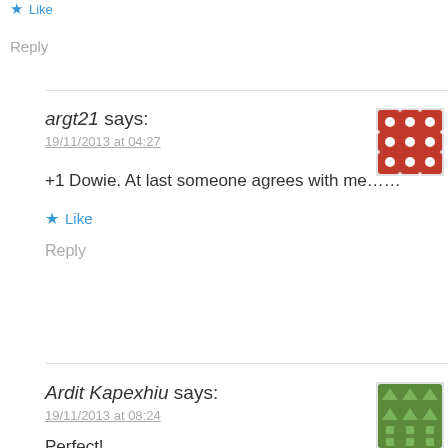★ Like
Reply
argt21 says:
19/11/2013 at 04:27
+1 Dowie. At last someone agrees with me……
★ Like
Reply
Ardit Kapexhiu says:
19/11/2013 at 08:24
Perfect!